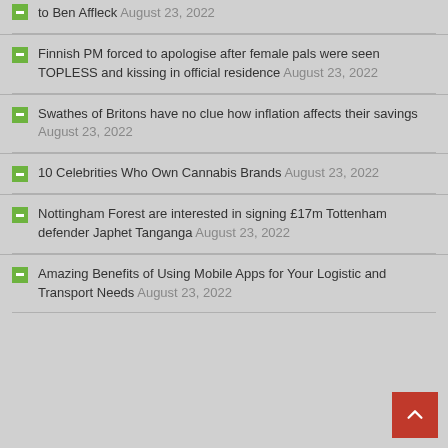Finnish PM forced to apologise after female pals were seen TOPLESS and kissing in official residence August 23, 2022
Swathes of Britons have no clue how inflation affects their savings August 23, 2022
10 Celebrities Who Own Cannabis Brands August 23, 2022
Nottingham Forest are interested in signing £17m Tottenham defender Japhet Tanganga August 23, 2022
Amazing Benefits of Using Mobile Apps for Your Logistic and Transport Needs August 23, 2022